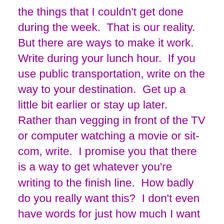the things that I couldn't get done during the week.  That is our reality.  But there are ways to make it work.  Write during your lunch hour.  If you use public transportation, write on the way to your destination.  Get up a little bit earlier or stay up later.  Rather than vegging in front of the TV or computer watching a movie or sit-com, write.  I promise you that there is a way to get whatever you're writing to the finish line.  How badly do you really want this?  I don't even have words for just how much I want to see my book on a shelf in a bookstore.  So sit down right now and think about it.  What are you willing and able to give up to finally finish your project?  You can have it all, just not at the same time.  Just aim for the future when you're a published author, sitting in a bookstore signing copies of your book.  Dreams do come true but it's usually thru hard work rather than a genie granting wishes.  So